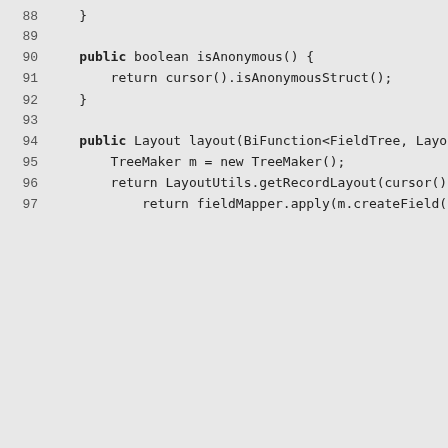88    }
89
90    public boolean isAnonymous() {
91        return cursor().isAnonymousStruct();
92    }
93
94    public Layout layout(BiFunction<FieldTree, Layo
95        TreeMaker m = new TreeMaker();
96        return LayoutUtils.getRecordLayout(cursor()
97            return fieldMapper.apply(m.createField(